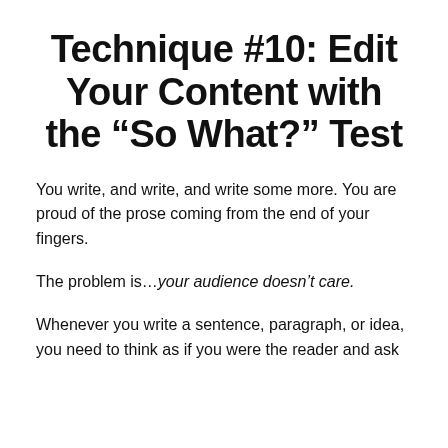Technique #10: Edit Your Content with the “So What?” Test
You write, and write, and write some more. You are proud of the prose coming from the end of your fingers.
The problem is…your audience doesn’t care.
Whenever you write a sentence, paragraph, or idea, you need to think as if you were the reader and ask